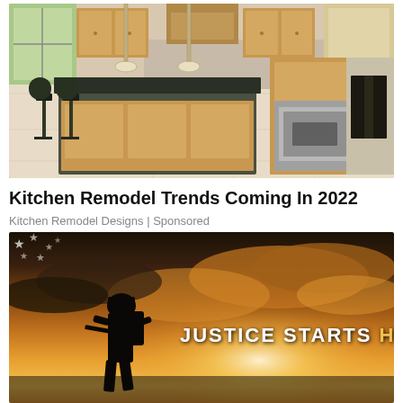[Figure (photo): Interior photo of a modern kitchen with granite island countertop, bar stools, wooden cabinets, stainless steel appliances, and tile flooring]
Kitchen Remodel Trends Coming In 2022
Kitchen Remodel Designs | Sponsored
[Figure (photo): Dramatic sunset sky with orange and golden clouds, silhouette of a soldier figure in foreground, American flag stars visible upper left, text overlay reading JUSTICE STARTS HERE]